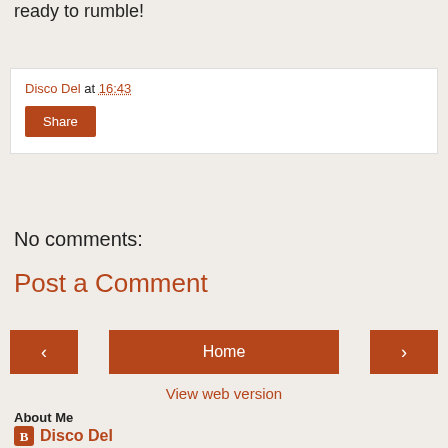ready to rumble!
Disco Del at 16:43
Share
No comments:
Post a Comment
< Home >
View web version
About Me
Disco Del
I live with a delinquent three-legged cat and a husband with an abysmal taste in music. I also have metastatic breast cancer. No